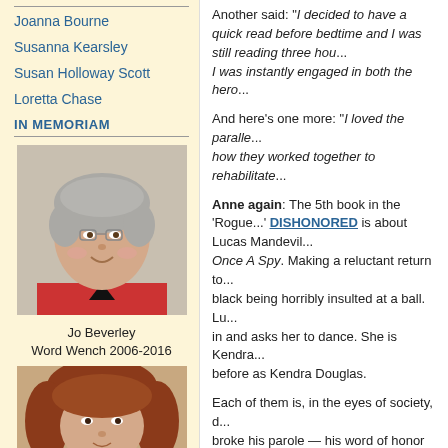Joanna Bourne
Susanna Kearsley
Susan Holloway Scott
Loretta Chase
IN MEMORIAM
[Figure (photo): Portrait photo of Jo Beverley, an older woman with short grey hair, wearing a red top, smiling.]
Jo Beverley
Word Wench 2006-2016
[Figure (photo): Partial portrait photo of a woman with reddish-brown hair.]
Another said: "I decided to have a quick read before bedtime and I was still reading three hours later... I was instantly engaged in both the hero..."
And here's one more: "I loved the parallel... how they worked together to rehabilitate..."
Anne again: The 5th book in the 'Rogue...' DISHONORED is about Lucas Mandeville... Once A Spy. Making a reluctant return to... black being horribly insulted at a ball. Lu... in and asks her to dance. She is Kendra... before as Kendra Douglas.
Each of them is, in the eyes of society, d... broke his parole — his word of honor as ... prison. Kendra's disgrace is one manufa... to get a divorce — and get his hands on ... her young son. Lucas vows to help Kend... and influential friends.
Continue reading "Once Dishonored — N..."
Posted by Anne Gracie on Sunday, September 2...
Putney, Writing Topics | Permalink | Comments (... TWEET THIS!